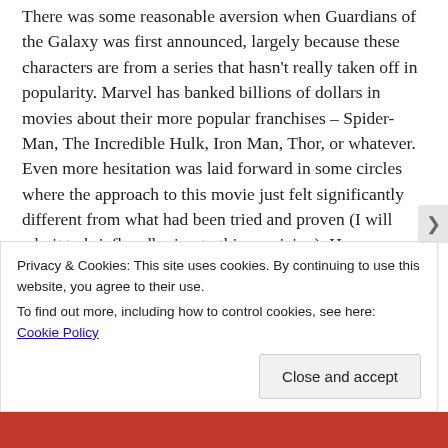There was some reasonable aversion when Guardians of the Galaxy was first announced, largely because these characters are from a series that hasn't really taken off in popularity. Marvel has banked billions of dollars in movies about their more popular franchises – Spider-Man, The Incredible Hulk, Iron Man, Thor, or whatever. Even more hesitation was laid forward in some circles where the approach to this movie just felt significantly different from what had been tried and proven (I will admit to briefly adhering to this suspicion). However, you don't have to worry. Director James Gunn, who also co-wrote the screenplay with Nicole Perlman, is in full
Privacy & Cookies: This site uses cookies. By continuing to use this website, you agree to their use.
To find out more, including how to control cookies, see here: Cookie Policy
Close and accept